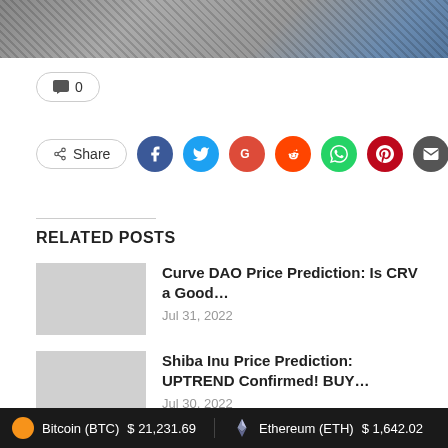[Figure (photo): Hero image showing textured fabric/carpet pattern with blue object in top right corner]
💬 0
Share
RELATED POSTS
Curve DAO Price Prediction: Is CRV a Good…
Jul 31, 2022
Shiba Inu Price Prediction: UPTREND Confirmed! BUY…
Jul 30, 2022
Bitcoin (BTC) $21,231.69   Ethereum (ETH) $1,642.02